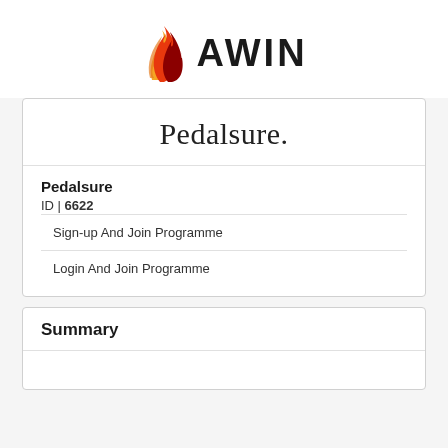[Figure (logo): AWIN logo with flame icon (red, dark red, orange/yellow colors) and bold AWIN text]
Pedalsure.
Pedalsure
ID | 6622
Sign-up And Join Programme
Login And Join Programme
Summary